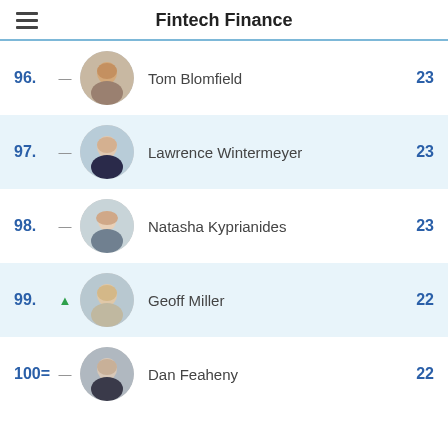Fintech Finance
96. — Tom Blomfield 23
97. — Lawrence Wintermeyer 23
98. — Natasha Kyprianides 23
99. ▲ Geoff Miller 22
100= — Dan Feaheny 22